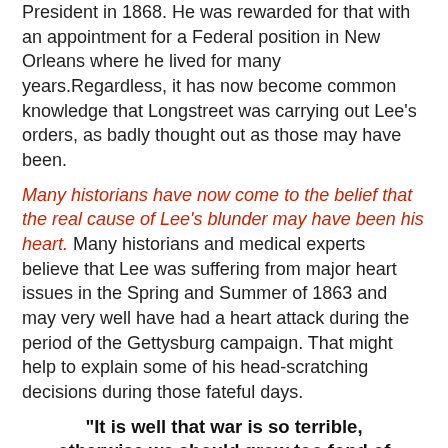President in 1868. He was rewarded for that with an appointment for a Federal position in New Orleans where he lived for many years.Regardless, it has now become common knowledge that Longstreet was carrying out Lee's orders, as badly thought out as those may have been.
Many historians have now come to the belief that the real cause of Lee's blunder may have been his heart. Many historians and medical experts believe that Lee was suffering from major heart issues in the Spring and Summer of 1863 and may very well have had a heart attack during the period of the Gettysburg campaign. That might help to explain some of his head-scratching decisions during those fateful days.
"It is well that war is so terrible, otherwise we should grow too fond of it." -Robert E. Lee, 1862
Read more about the Battle of Gettysburg:
History.com article
Wikipedia page
CivilWar.org article